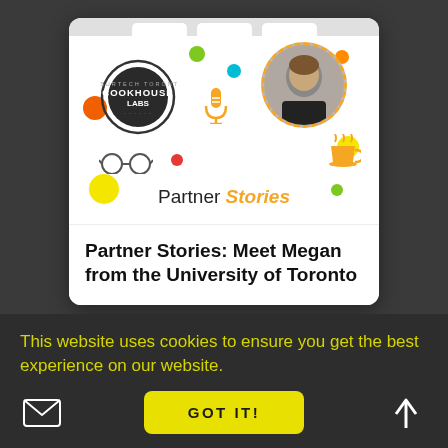[Figure (screenshot): Screenshot of a website card showing 'Partner Stories: Meet Megan from the University of Toronto' with colorful decorative dots, Cookhouse Labs stamp logo, person photo in dashed circle, microphone icon, cup icon, and Partner Stories branding]
Partner Stories: Meet Megan from the University of Toronto
This website uses cookies to ensure you get the best experience on our website.
GOT IT!